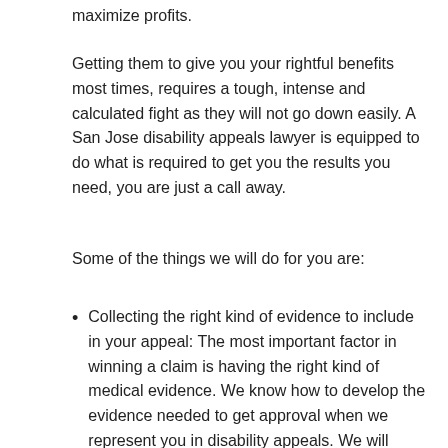maximize profits.
Getting them to give you your rightful benefits most times, requires a tough, intense and calculated fight as they will not go down easily. A San Jose disability appeals lawyer is equipped to do what is required to get you the results you need, you are just a call away.
Some of the things we will do for you are:
Collecting the right kind of evidence to include in your appeal: The most important factor in winning a claim is having the right kind of medical evidence. We know how to develop the evidence needed to get approval when we represent you in disability appeals. We will review your file carefully to